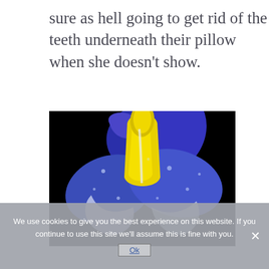sure as hell going to get rid of the teeth underneath their pillow when she doesn't show.
[Figure (photo): Close-up photograph of a blue iris flower with yellow center markings and water droplets on the petals, set against a black background.]
We use cookies to give you the best experience on this website. If you continue to use this site we'll assume this is fine with you.
Ok